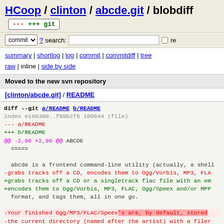HCoop / clinton / abcde.git / blobdiff +++ git
commit ? search: re
summary | shortlog | log | commit | commitdiff | tree
raw | inline | side by side
Moved to the new svn repository
[clinton/abcde.git] / README
diff --git a/README b/README
index e180300..f69b2f6 100644 (file)
--- a/README
+++ b/README
@@ -2,66 +2,90 @@ ABCDE
 =====

 abcde is a frontend command-line utility (actually, a shell
-grabs tracks off a CD, encodes them to Ogg/Vorbis, MP3, FLA
+grabs tracks off a CD or a singletrack flac file with an em
+encodes them to Ogg/Vorbis, MP3, FLAC, Ogg/Speex and/or MPP
 format, and tags them, all in one go.

-Your finished Ogg/MP3/FLAC/Speex's are, by default, stored
-the current directory (named after the artist) with a filer
-track title. Spaces are replaced by underscores, and apostr
-control codes are filtered out. Colons are replaced with an
hyphen. The end result usually looks like: Our_Lady_Peace...